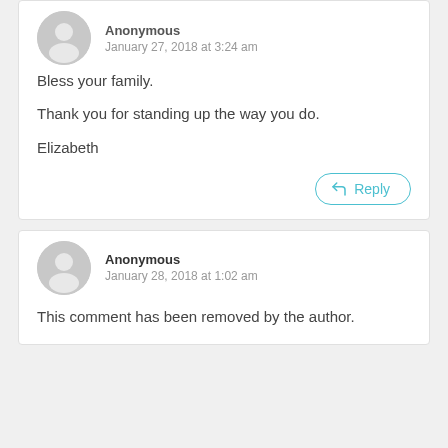[Figure (illustration): Anonymous user avatar (gray circle with silhouette) for first comment]
Anonymous
January 27, 2018 at 3:24 am
Bless your family.

Thank you for standing up the way you do.

Elizabeth
Reply
[Figure (illustration): Anonymous user avatar (gray circle with silhouette) for second comment]
Anonymous
January 28, 2018 at 1:02 am
This comment has been removed by the author.